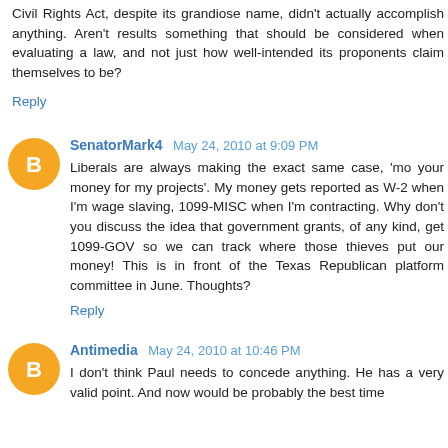Civil Rights Act, despite its grandiose name, didn't actually accomplish anything. Aren't results something that should be considered when evaluating a law, and not just how well-intended its proponents claim themselves to be?
Reply
SenatorMark4  May 24, 2010 at 9:09 PM
Liberals are always making the exact same case, 'mo your money for my projects'. My money gets reported as W-2 when I'm wage slaving, 1099-MISC when I'm contracting. Why don't you discuss the idea that government grants, of any kind, get 1099-GOV so we can track where those thieves put our money! This is in front of the Texas Republican platform committee in June. Thoughts?
Reply
Antimedia  May 24, 2010 at 10:46 PM
I don't think Paul needs to concede anything. He has a very valid point. And now would be probably the best time